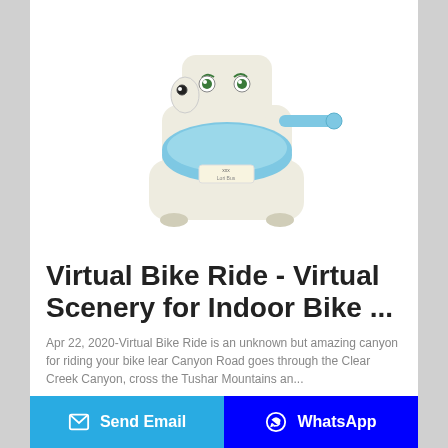[Figure (photo): Children's toy potty trainer / ride-on with a cartoon face design, blue seat and handle, cream/beige colored body, with 'Little Boss' label on front]
Virtual Bike Ride - Virtual Scenery for Indoor Bike ...
Apr 22, 2020-Virtual Bike Ride is an unknown but amazing canyon for riding your bike lear Canyon Road goes through the Clear Creek Canyon, cross the Tushar Mountains an...
Send Email | WhatsApp